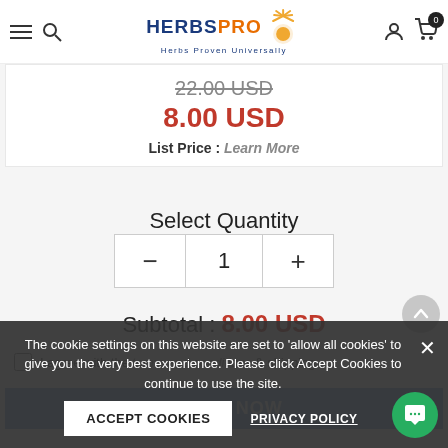HerbsPro — Herbs Proven Universally
22.00 USD (strikethrough)
8.00 USD
List Price : Learn More
Select Quantity
- 1 +
Subtotal : 8.00 USD
I agree with the terms and conditions & shipping
The cookie settings on this website are set to 'allow all cookies' to give you the very best experience. Please click Accept Cookies to continue to use the site.
ACCEPT COOKIES
PRIVACY POLICY
BUY IT NOW